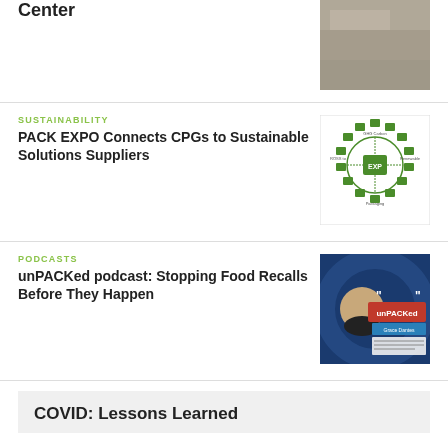Center
[Figure (photo): Photo of a surface or material, partially visible at top right]
SUSTAINABILITY
PACK EXPO Connects CPGs to Sustainable Solutions Suppliers
[Figure (infographic): Circular diagram with green icons and text representing sustainability framework]
PODCASTS
unPACKed podcast: Stopping Food Recalls Before They Happen
[Figure (photo): Podcast promotional image featuring a smiling woman with unPACKed podcast branding]
COVID: Lessons Learned